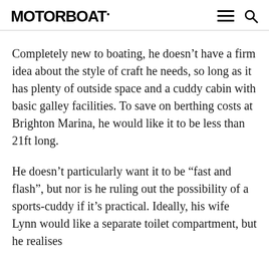MOTOR BOAT
Completely new to boating, he doesn't have a firm idea about the style of craft he needs, so long as it has plenty of outside space and a cuddy cabin with basic galley facilities. To save on berthing costs at Brighton Marina, he would like it to be less than 21ft long.
He doesn't particularly want it to be “fast and flash”, but nor is he ruling out the possibility of a sports-cuddy if it’s practical. Ideally, his wife Lynn would like a separate toilet compartment, but he realises